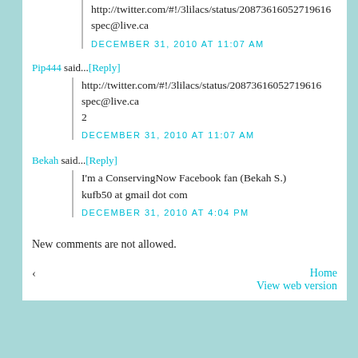http://twitter.com/#!/3lilacs/status/20873616052719616
spec@live.ca
DECEMBER 31, 2010 AT 11:07 AM
Pip444 said...[Reply]
http://twitter.com/#!/3lilacs/status/20873616052719616
spec@live.ca
2
DECEMBER 31, 2010 AT 11:07 AM
Bekah said...[Reply]
I'm a ConservingNow Facebook fan (Bekah S.)
kufb50 at gmail dot com
DECEMBER 31, 2010 AT 4:04 PM
New comments are not allowed.
‹
Home
View web version